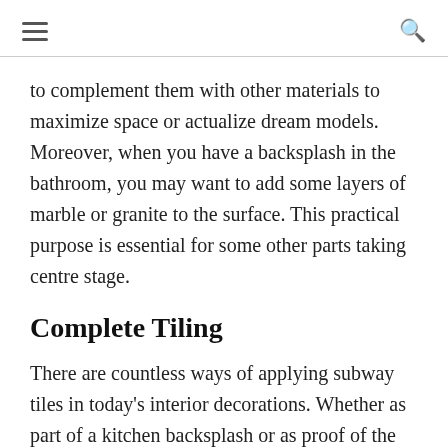[hamburger menu] [search icon]
to complement them with other materials to maximize space or actualize dream models. Moreover, when you have a backsplash in the bathroom, you may want to add some layers of marble or granite to the surface. This practical purpose is essential for some other parts taking centre stage.
Complete Tiling
There are countless ways of applying subway tiles in today's interior decorations. Whether as part of a kitchen backsplash or as proof of the beauty, these items are exquisite. You may add subway tiles to the